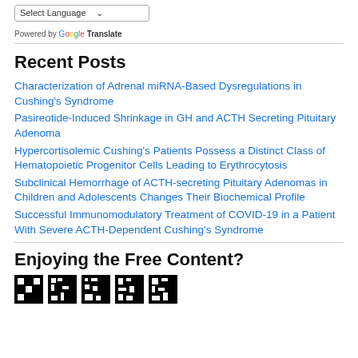[Figure (screenshot): Select Language dropdown with chevron]
Powered by Google Translate
Recent Posts
Characterization of Adrenal miRNA-Based Dysregulations in Cushing's Syndrome
Pasireotide-Induced Shrinkage in GH and ACTH Secreting Pituitary Adenoma
Hypercortisolemic Cushing's Patients Possess a Distinct Class of Hematopoietic Progenitor Cells Leading to Erythrocytosis
Subclinical Hemorrhage of ACTH-secreting Pituitary Adenomas in Children and Adolescents Changes Their Biochemical Profile
Successful Immunomodulatory Treatment of COVID-19 in a Patient With Severe ACTH-Dependent Cushing's Syndrome
Enjoying the Free Content?
[Figure (other): QR code partial image at bottom of page]